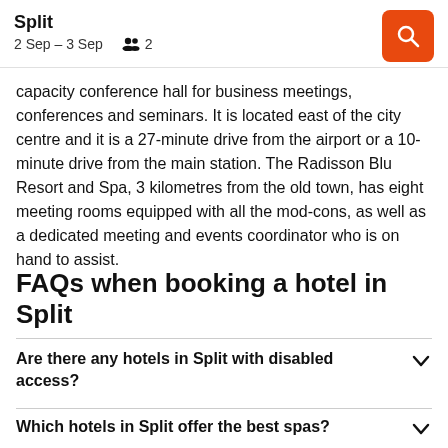Split
2 Sep – 3 Sep   2
capacity conference hall for business meetings, conferences and seminars. It is located east of the city centre and it is a 27-minute drive from the airport or a 10-minute drive from the main station. The Radisson Blu Resort and Spa, 3 kilometres from the old town, has eight meeting rooms equipped with all the mod-cons, as well as a dedicated meeting and events coordinator who is on hand to assist.
FAQs when booking a hotel in Split
Are there any hotels in Split with disabled access?
Which hotels in Split offer the best spas?